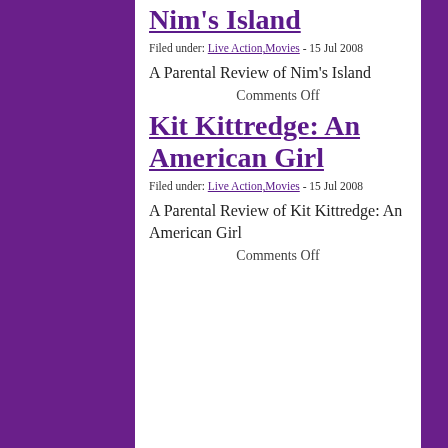Nim's Island
Filed under: Live Action,Movies - 15 Jul 2008
A Parental Review of Nim's Island
Comments Off
Kit Kittredge: An American Girl
Filed under: Live Action,Movies - 15 Jul 2008
A Parental Review of Kit Kittredge: An American Girl
Comments Off